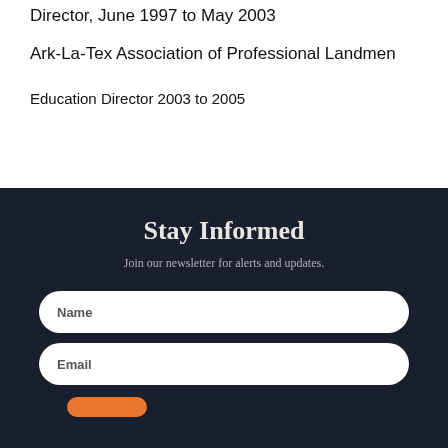Director, June 1997 to May 2003
Ark-La-Tex Association of Professional Landmen
Education Director 2003 to 2005
Stay Informed
Join our newsletter for alerts and updates.
Name
Email